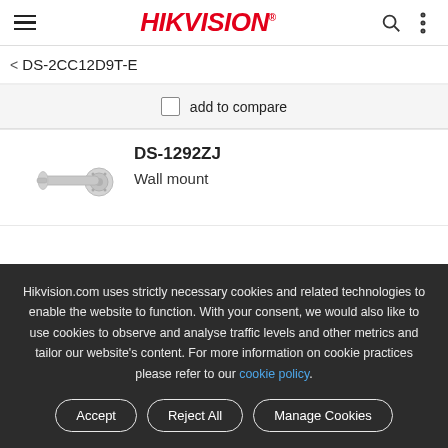HIKVISION
< DS-2CC12D9T-E
add to compare
DS-1292ZJ
Wall mount
[Figure (illustration): Hikvision DS-1292ZJ wall mount bracket product image, metallic silver L-shaped arm]
Hikvision.com uses strictly necessary cookies and related technologies to enable the website to function. With your consent, we would also like to use cookies to observe and analyse traffic levels and other metrics and tailor our website’s content. For more information on cookie practices please refer to our cookie policy.
Accept
Reject All
Manage Cookies